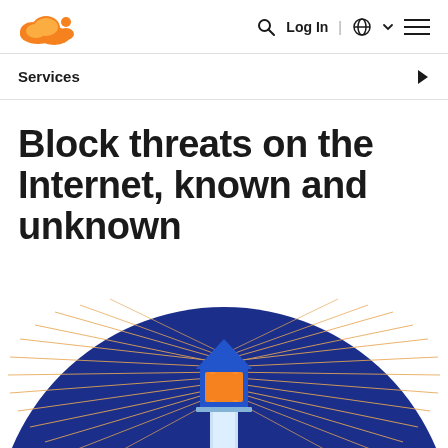Cloudflare logo | Search | Log In | Globe | Menu
Services
Block threats on the Internet, known and unknown
[Figure (illustration): Illustration of a lighthouse with orange light beams radiating outward on a dark blue circular background]